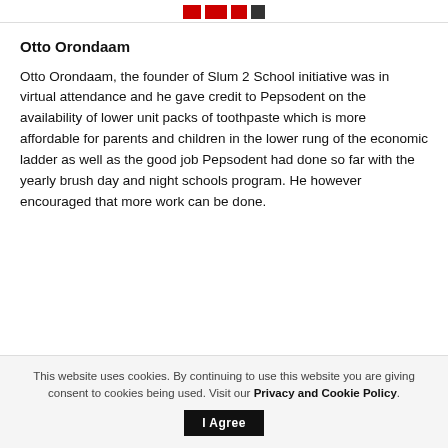Otto Orondaam
Otto Orondaam, the founder of Slum 2 School initiative was in virtual attendance and he gave credit to Pepsodent on the availability of lower unit packs of toothpaste which is more affordable for parents and children in the lower rung of the economic ladder as well as the good job Pepsodent had done so far with the yearly brush day and night schools program. He however encouraged that more work can be done.
This website uses cookies. By continuing to use this website you are giving consent to cookies being used. Visit our Privacy and Cookie Policy. I Agree